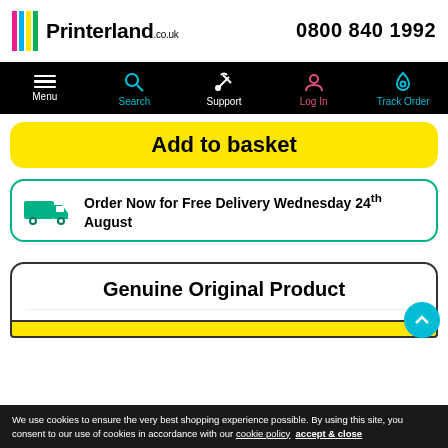Printerland.co.uk  0800 840 1992
[Figure (screenshot): Navigation bar with Menu, Search, Support, Log In, Track Order icons on black background]
Add to basket
Order Now for Free Delivery Wednesday 24th August
Genuine Original Product
We use cookies to ensure the very best shopping experience possible. By using this site, you consent to our use of cookies in accordance with our cookie policy  accept & close